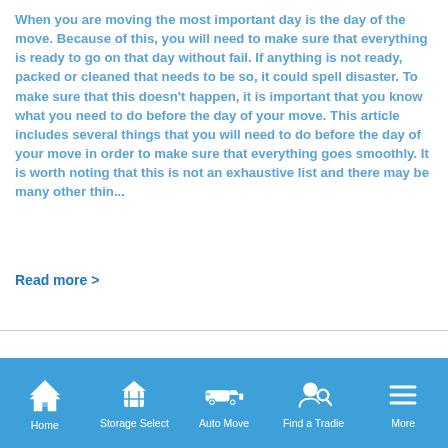When you are moving the most important day is the day of the move. Because of this, you will need to make sure that everything is ready to go on that day without fail. If anything is not ready, packed or cleaned that needs to be so, it could spell disaster. To make sure that this doesn't happen, it is important that you know what you need to do before the day of your move. This article includes several things that you will need to do before the day of your move in order to make sure that everything goes smoothly. It is worth noting that this is not an exhaustive list and there may be many other thin...
Read more >
Get 3+ Moving Quotes
[Figure (other): Navigation bar with icons: Home, Storage Select, Auto Move, Find a Tradie, More]